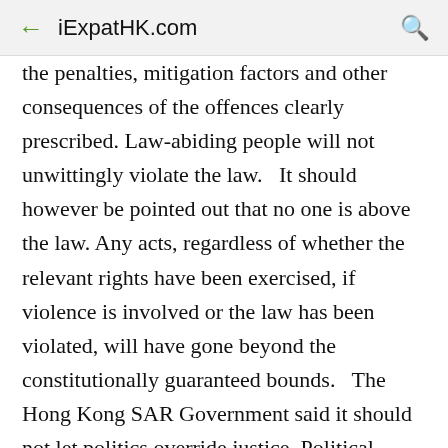iExpatHK.com
the penalties, mitigation factors and other consequences of the offences clearly prescribed. Law-abiding people will not unwittingly violate the law.   It should however be pointed out that no one is above the law. Any acts, regardless of whether the relevant rights have been exercised, if violence is involved or the law has been violated, will have gone beyond the constitutionally guaranteed bounds.   The Hong Kong SAR Government said it should not let politics override justice. Political pluralism does not mean attempts to seriously undermine the performance of government duties and functions